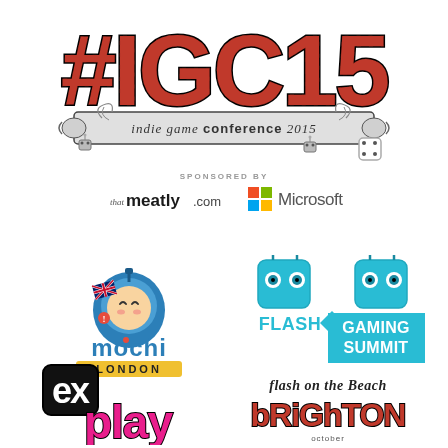[Figure (logo): #IGC15 Indie Game Conference 2015 main logo with decorative banner and doodle artwork]
SPONSORED BY
[Figure (logo): thatmeatly.com sponsor logo]
[Figure (logo): Microsoft sponsor logo with four-color Windows grid]
[Figure (logo): Mochi London logo with cartoon character holding UK flag]
[Figure (logo): Flash Gaming Summit logo with two robot face icons]
[Figure (logo): exPlay logo in pink/black retro style]
[Figure (logo): Flash on the Beach Brighton logo in grunge style]